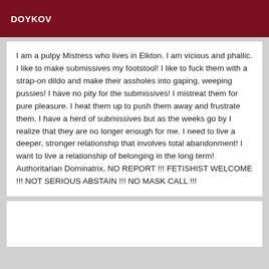DOYKOV
I am a pulpy Mistress who lives in Elkton. I am vicious and phallic. I like to make submissives my footstool! I like to fuck them with a strap-on dildo and make their assholes into gaping, weeping pussies! I have no pity for the submissives! I mistreat them for pure pleasure. I heat them up to push them away and frustrate them. I have a herd of submissives but as the weeks go by I realize that they are no longer enough for me. I need to live a deeper, stronger relationship that involves total abandonment! I want to live a relationship of belonging in the long term! Authoritarian Dominatrix, NO REPORT !!! FETISHIST WELCOME !!! NOT SERIOUS ABSTAIN !!! NO MASK CALL !!!